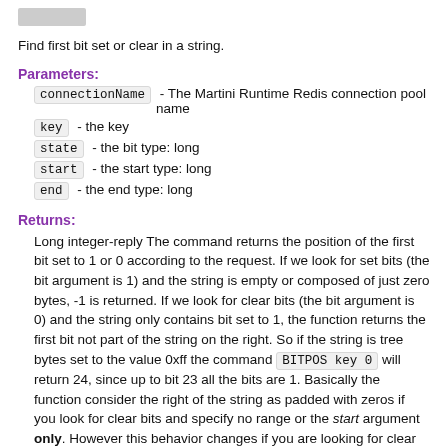Find first bit set or clear in a string.
Parameters:
connectionName - The Martini Runtime Redis connection pool name
key - the key
state - the bit type: long
start - the start type: long
end - the end type: long
Returns:
Long integer-reply The command returns the position of the first bit set to 1 or 0 according to the request. If we look for set bits (the bit argument is 1) and the string is empty or composed of just zero bytes, -1 is returned. If we look for clear bits (the bit argument is 0) and the string only contains bit set to 1, the function returns the first bit not part of the string on the right. So if the string is tree bytes set to the value 0xff the command BITPOS key 0 will return 24, since up to bit 23 all the bits are 1. Basically the function consider the right of the string as padded with zeros if you look for clear bits and specify no range or the start argument only. However this behavior changes if you are looking for clear bits and specify a range with both